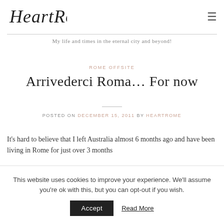[Figure (logo): HeartRome cursive script logo]
My life and times in the eternal city and beyond!
ROME OFFSITE
Arrivederci Roma… For now
POSTED ON DECEMBER 15, 2011 BY HEARTROME
It's hard to believe that I left Australia almost 6 months ago and have been living in Rome for just over 3 months
This website uses cookies to improve your experience. We'll assume you're ok with this, but you can opt-out if you wish. Accept Read More